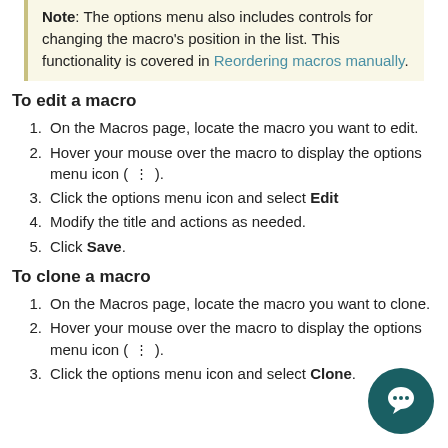Note: The options menu also includes controls for changing the macro's position in the list. This functionality is covered in Reordering macros manually.
To edit a macro
1. On the Macros page, locate the macro you want to edit.
2. Hover your mouse over the macro to display the options menu icon ( ⋮ ).
3. Click the options menu icon and select Edit
4. Modify the title and actions as needed.
5. Click Save.
To clone a macro
1. On the Macros page, locate the macro you want to clone.
2. Hover your mouse over the macro to display the options menu icon ( ⋮ ).
3. Click the options menu icon and select Clone.